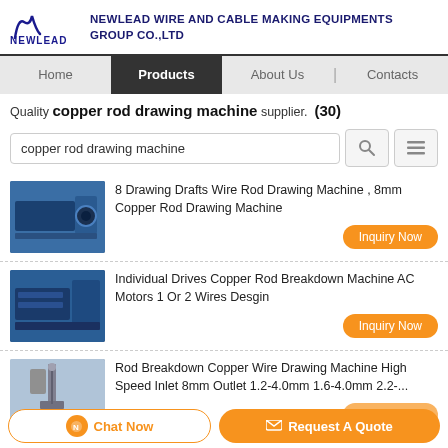[Figure (logo): Newlead logo with stylized N and company name: NEWLEAD WIRE AND CABLE MAKING EQUIPMENTS GROUP CO.,LTD]
Home | Products | About Us | Contacts
Quality copper rod drawing machine supplier. (30)
copper rod drawing machine [search box]
8 Drawing Drafts Wire Rod Drawing Machine , 8mm Copper Rod Drawing Machine
Individual Drives Copper Rod Breakdown Machine AC Motors 1 Or 2 Wires Desgin
Rod Breakdown Copper Wire Drawing Machine High Speed Inlet 8mm Outlet 1.2-4.0mm 1.6-4.0mm 2.2-...
Chat Now | Request A Quote